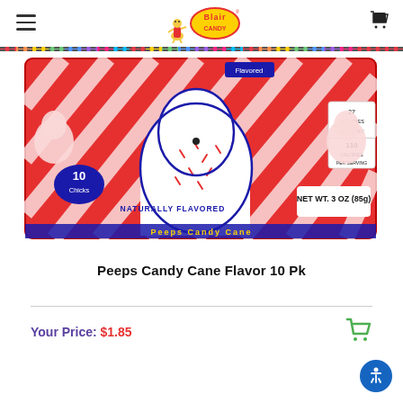Blair Candy (logo and hamburger menu)
[Figure (photo): Peeps Candy Cane Flavor 10 Pk product package — red and white striped packaging with a white ghost-shaped marshmallow chick covered in red sprinkles, showing '10 Chicks', 'NATURALLY FLAVORED', 'NET WT. 3OZ (85g)', and nutrition facts.]
Peeps Candy Cane Flavor 10 Pk
Your Price: $1.85